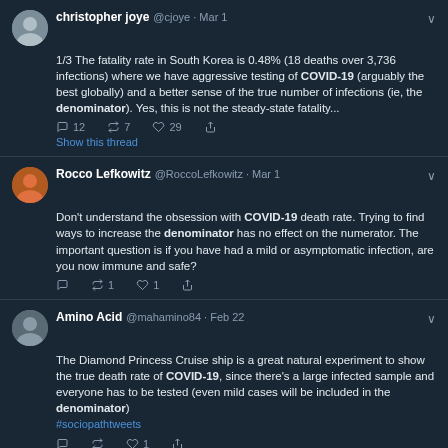[Figure (screenshot): Twitter/social media thread screenshot on dark background showing 4 tweets about COVID-19 fatality rates and denominators. Tweet 1: christopher joye @cjoye Mar 1 - about South Korea fatality rate 0.48%. Tweet 2: Rocco Lefkowitz @RoccoLefkowitz Mar 1 - about COVID-19 death rate obsession. Tweet 3: Amino Acid @mahamino84 Feb 22 - about Diamond Princess Cruise ship. Tweet 4: Michael Higgins @LifeSciHiggins 2h - about tests and denominator.]
As you can see, a LOT of people, are interested in denominators all of a sudden, because it matters a lot